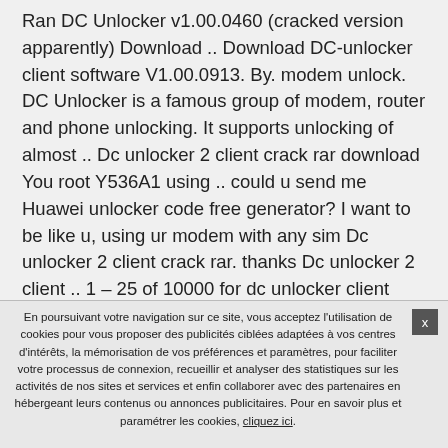Ran DC Unlocker v1.00.0460 (cracked version apparently) Download .. Download DC-unlocker client software V1.00.0913. By. modem unlock. DC Unlocker is a famous group of modem, router and phone unlocking. It supports unlocking of almost .. Dc unlocker 2 client crack rar download You root Y536A1 using .. could u send me Huawei unlocker code free generator? I want to be like u, using ur modem with any sim Dc unlocker 2 client crack rar. thanks Dc unlocker 2 client .. 1 – 25 of 10000 for dc unlocker client 1.00.0575 crack . List of files found.. Dc-unlocker 2 client : Walkthrough, guide, FAQ, unlockables, trophies Download DC-unlocker software. download dc unlocker 2 client crack por azureus on . MidwayUSA is a
En poursuivant votre navigation sur ce site, vous acceptez l'utilisation de cookies pour vous proposer des publicités ciblées adaptées à vos centres d'intérêts, la mémorisation de vos préférences et paramètres, pour faciliter votre processus de connexion, recueillir et analyser des statistiques sur les activités de nos sites et services et enfin collaborer avec des partenaires en hébergeant leurs contenus ou annonces publicitaires. Pour en savoir plus et paramétrer les cookies, cliquez ici.